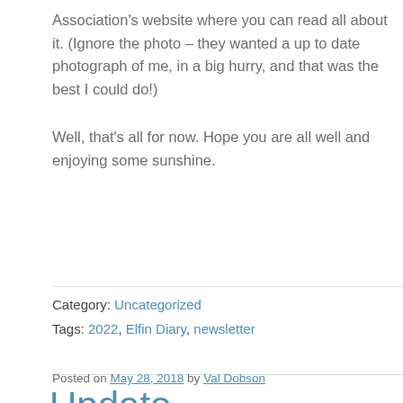Association's website where you can read all about it. (Ignore the photo – they wanted a up to date photograph of me, in a big hurry, and that was the best I could do!)
Well, that's all for now.  Hope you are all well and enjoying some sunshine.
Category: Uncategorized
Tags: 2022, Elfin Diary, newsletter
Posted on May 28, 2018 by Val Dobson
Update